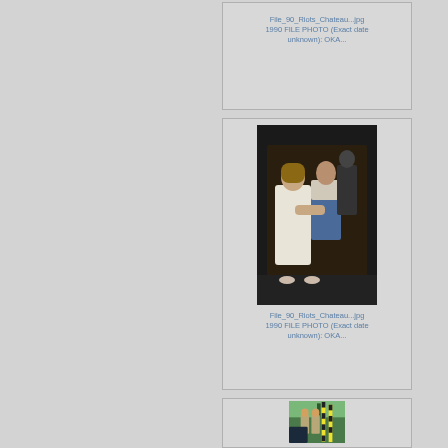[Figure (photo): Card 1: Text only entry - File_90_Riots_Chateau...jpg 1990 FILE PHOTO (Exact date unknown): OKA...]
File_90_Riots_Chateau...jpg
1990 FILE PHOTO (Exact date unknown): OKA...
[Figure (photo): Two people interacting at night, one appears to be helping the other, outdoor setting, 1990 riots Chateau photo]
File_90_Riots_Chateau...jpg
1990 FILE PHOTO (Exact date unknown): OKA...
[Figure (photo): Officers near a vehicle with striped barrier/marker, outdoor daytime setting, 1990 riots photo]